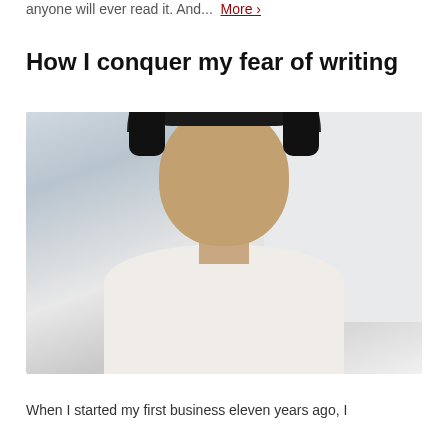anyone will ever read it. And...  More ›
How I conquer my fear of writing
[Figure (photo): A man wearing black over-ear headphones and a white t-shirt, taking a selfie indoors against a light-colored wall background.]
When I started my first business eleven years ago, I